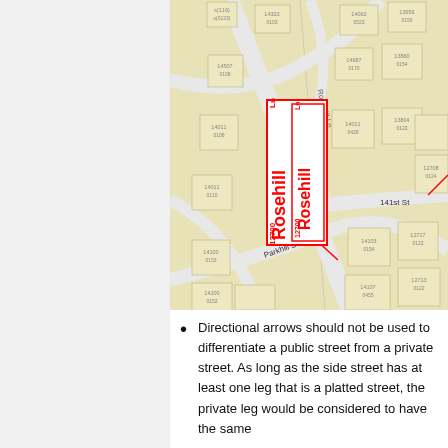[Figure (map): Street parcel map showing Rosehill Ln area with red-boxed street labels reading '12700 Rosehill Ln' (rotated), parcel numbers on lots, surrounding streets including 141st St and Parkhill St, and a red directional arrow pointing to the labeled street.]
Directional arrows should not be used to differentiate a public street from a private street. As long as the side street has at least one leg that is a platted street, the private leg would be considered to have the same